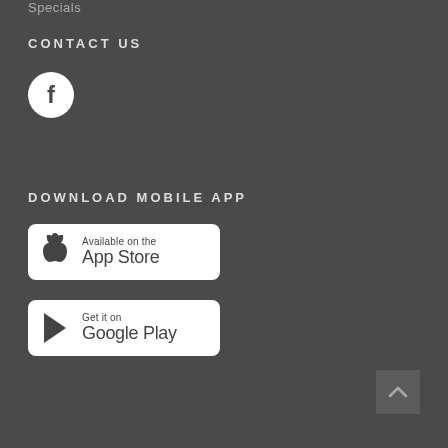Specials
CONTACT US
[Figure (logo): Facebook circular icon with white 'f' on white background]
DOWNLOAD MOBILE APP
[Figure (logo): App Store badge: Available on the App Store with Apple logo]
[Figure (logo): Google Play badge: Get it on Google Play with play button icon]
[Figure (other): Scroll to top button with upward chevron arrow]